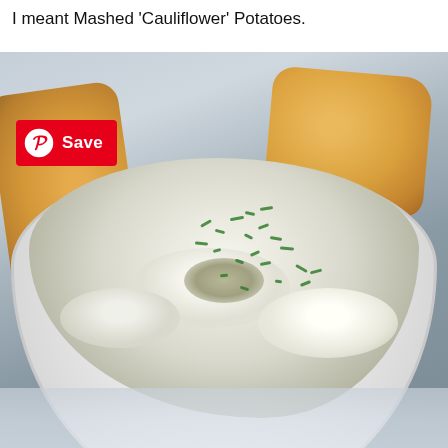I meant Mashed 'Cauliflower' Potatoes.
[Figure (photo): A white bowl filled with mashed cauliflower garnished with chopped green herbs (chives/parsley), with pieces of cornbread in the blurred background. A red Pinterest Save button overlays the top-left of the image.]